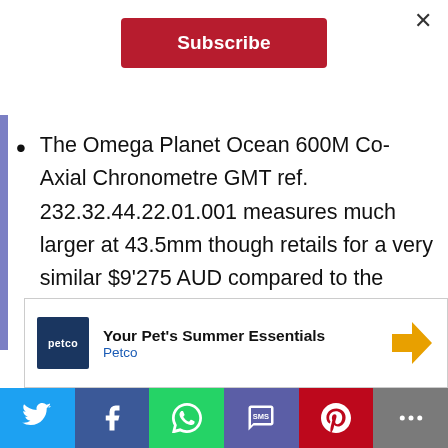Subscribe
The Omega Planet Ocean 600M Co-Axial Chronometre GMT ref. 232.32.44.22.01.001 measures much larger at 43.5mm though retails for a very similar $9'275 AUD compared to the $9'300 AUD of the SBGE257. The METAS-certified version, the ref. 215.30.44.22.01.001, retails for a significantly higher $12'050 AUD. And both these Omega options are now chunkier than
[Figure (other): Petco advertisement: Your Pet's Summer Essentials]
Social share bar: Twitter, Facebook, WhatsApp, SMS, Pinterest, More